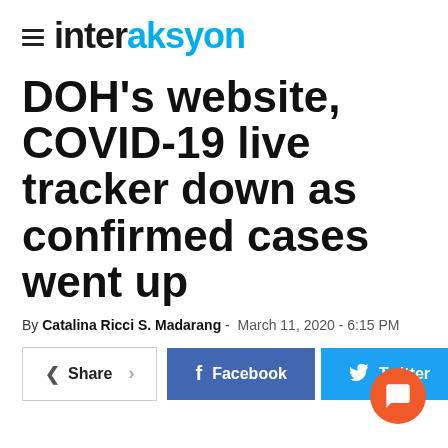interaksyon
DOH's website, COVID-19 live tracker down as confirmed cases went up
By Catalina Ricci S. Madarang - March 11, 2020 - 6:15 PM
[Figure (other): Social share bar with Share, Facebook, and Twitter buttons]
[Figure (other): Orange circular chat/comment button in bottom right corner]